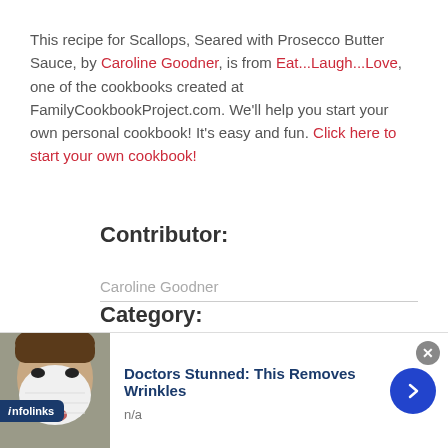This recipe for Scallops, Seared with Prosecco Butter Sauce, by Caroline Goodner, is from Eat...Laugh...Love, one of the cookbooks created at FamilyCookbookProject.com. We'll help you start your own personal cookbook! It's easy and fun. Click here to start your own cookbook!
Contributor:
Caroline Goodner
Category:
Main Courses: Seafood, Poultry, Pasta and Casseroles
Ingredients:
[Figure (screenshot): Infolinks advertisement overlay showing 'Doctors Stunned: This Removes Wrinkles' with n/a subtext, a photo of a person with a face mask, and a blue arrow button. An infolinks badge is visible in the bottom-left corner. A close (x) button is in the top-right.]